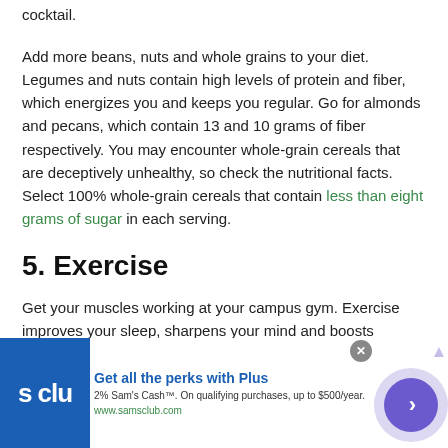cocktail.
Add more beans, nuts and whole grains to your diet. Legumes and nuts contain high levels of protein and fiber, which energizes you and keeps you regular. Go for almonds and pecans, which contain 13 and 10 grams of fiber respectively. You may encounter whole-grain cereals that are deceptively unhealthy, so check the nutritional facts. Select 100% whole-grain cereals that contain less than eight grams of sugar in each serving.
5. Exercise
Get your muscles working at your campus gym. Exercise improves your sleep, sharpens your mind and boosts
[Figure (other): Sam's Club advertisement banner: blue background with 's clu' logo, text 'Get all the perks with Plus', '2% Sam's Cash™. On qualifying purchases, up to $500/year.', 'www.samsclub.com', close button, and arrow navigation button]